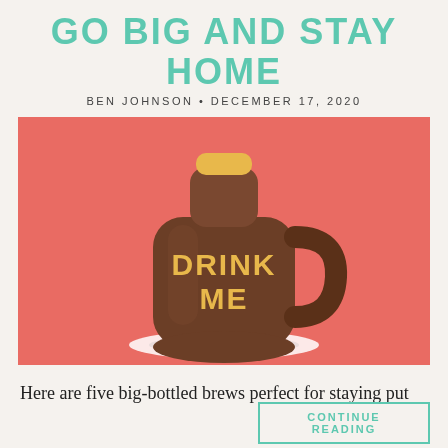GO BIG AND STAY HOME
BEN JOHNSON • DECEMBER 17, 2020
[Figure (illustration): A brown ceramic jug/growler with a yellow cap and handle, displaying the text DRINK ME in yellow letters, sitting on a white plate, on a coral/salmon red background.]
Here are five big-bottled brews perfect for staying put
CONTINUE READING